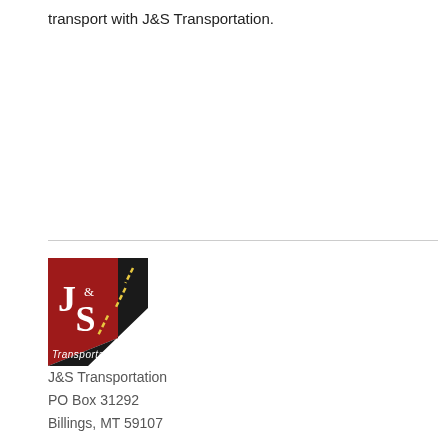transport with J&S Transportation.
[Figure (logo): J&S Transportation logo — a dark red/maroon angular shape (tail fin) with a diagonal black road stripe and yellow dashes, text 'J & S Transportation' in white]
J&S Transportation
PO Box 31292
Billings, MT 59107